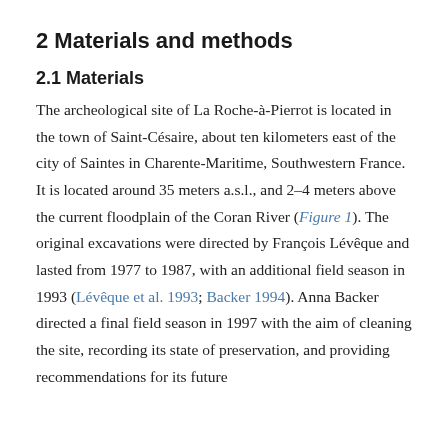2 Materials and methods
2.1 Materials
The archeological site of La Roche-à-Pierrot is located in the town of Saint-Césaire, about ten kilometers east of the city of Saintes in Charente-Maritime, Southwestern France. It is located around 35 meters a.s.l., and 2–4 meters above the current floodplain of the Coran River (Figure 1). The original excavations were directed by François Lévêque and lasted from 1977 to 1987, with an additional field season in 1993 (Lévêque et al. 1993; Backer 1994). Anna Backer directed a final field season in 1997 with the aim of cleaning the site, recording its state of preservation, and providing recommendations for its future conservation (as described in a report submitted to